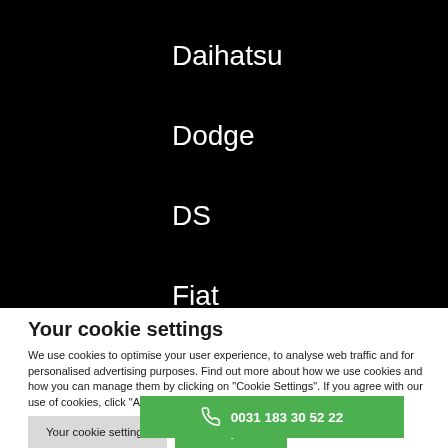Daihatsu
Dodge
DS
Fiat
Your cookie settings
We use cookies to optimise your user experience, to analyse web traffic and for personalised advertising purposes. Find out more about how we use cookies and how you can manage them by clicking on "Cookie Settings". If you agree with our use of cookies, click "Accept all". Read More
Your cookie settings
Accept All
0031 183 30 52 22